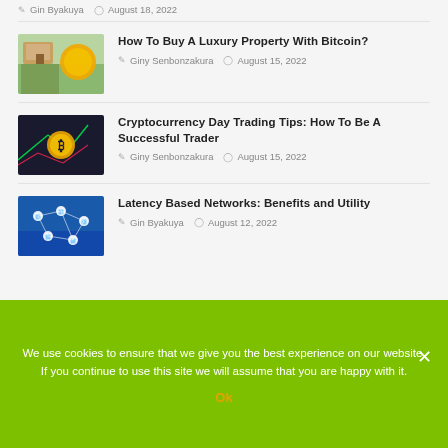Gin Byakuya  August 18, 2022
How To Buy A Luxury Property With Bitcoin?
Giny Senbonzakura  August 15, 2022
Cryptocurrency Day Trading Tips: How To Be A Successful Trader
Giny Senbonzakura  August 15, 2022
Latency Based Networks: Benefits and Utility
Gin Byakuya  August 12, 2022
We use cookies to ensure that we give you the best experience on our website. If you continue to use this site we will assume that you are happy with it.
Ok